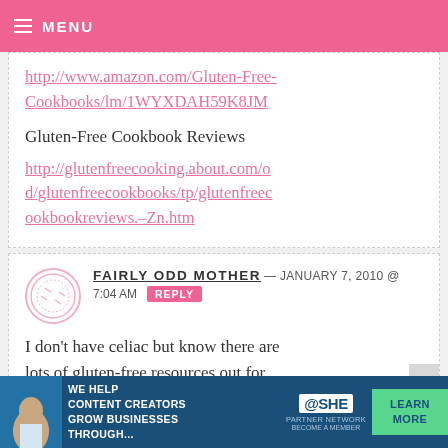MENU
http://www.amazon.com/Gluten-Free-Cookbooks/lm/1WYXDAH59K8JM
Gluten-Free Cookbook Reviews
http://glutenfreecooking.about.com/od/glutenfreecookbooks/tp/glutenfreecookbookreviews.–Zn.htm
FAIRLY ODD MOTHER — JANUARY 7, 2010 @ 7:04 AM REPLY
I don't have celiac but know there are lots of gluten-free resources out for
[Figure (infographic): SHE Partner Network advertisement banner: WE HELP CONTENT CREATORS GROW BUSINESSES THROUGH... LEARN MORE BECOME A MEMBER]